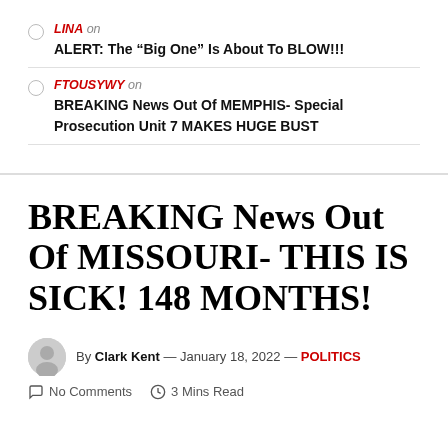LINA on
ALERT: The “Big One” Is About To BLOW!!!
FTOUSYWY on
BREAKING News Out Of MEMPHIS- Special Prosecution Unit 7 MAKES HUGE BUST
BREAKING News Out Of MISSOURI- THIS IS SICK! 148 MONTHS!
By Clark Kent — January 18, 2022 — POLITICS
No Comments  3 Mins Read